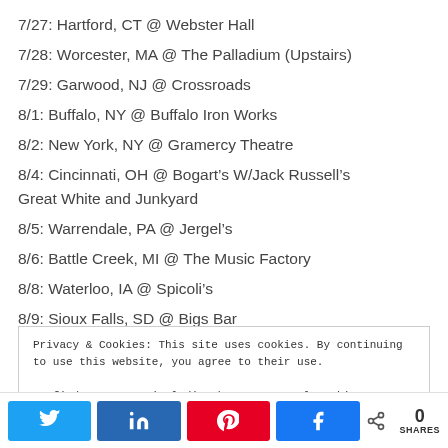7/27: Hartford, CT @ Webster Hall
7/28: Worcester, MA @ The Palladium (Upstairs)
7/29: Garwood, NJ @ Crossroads
8/1: Buffalo, NY @ Buffalo Iron Works
8/2: New York, NY @ Gramercy Theatre
8/4: Cincinnati, OH @ Bogart’s W/Jack Russell’s Great White and Junkyard
8/5: Warrendale, PA @ Jergel’s
8/6: Battle Creek, MI @ The Music Factory
8/8: Waterloo, IA @ Spicoli’s
8/9: Sioux Falls, SD @ Bigs Bar
Privacy & Cookies: This site uses cookies. By continuing to use this website, you agree to their use. To find out more, including how to control cookies, see here: Cookie Policy